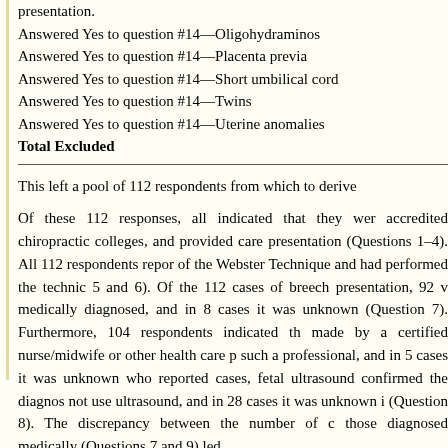presentation.
Answered Yes to question #14—Oligohydraminos
Answered Yes to question #14—Placenta previa
Answered Yes to question #14—Short umbilical cord
Answered Yes to question #14—Twins
Answered Yes to question #14—Uterine anomalies
Total Excluded
This left a pool of 112 respondents from which to derive
Of these 112 responses, all indicated that they were accredited chiropractic colleges, and provided care presentation (Questions 1–4). All 112 respondents repor of the Webster Technique and had performed the technic 5 and 6). Of the 112 cases of breech presentation, 92 v medically diagnosed, and in 8 cases it was unknown (Question 7). Furthermore, 104 respondents indicated th made by a certified nurse/midwife or other health care p such a professional, and in 5 cases it was unknown who reported cases, fetal ultrasound confirmed the diagnos not use ultrasound, and in 28 cases it was unknown i (Question 8). The discrepancy between the number of c those diagnosed medically (Questions 7 and 9) led